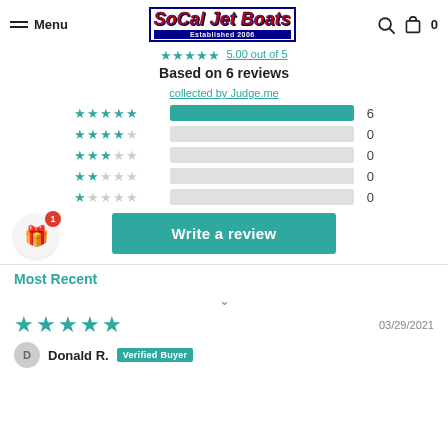Menu | SoCal Jet Boats Established 2006
[Figure (other): Star rating display showing partial stars (5 out of 5 teal stars) and link '5.00 out of 5']
Based on 6 reviews
collected by Judge.me
[Figure (bar-chart): Review rating distribution]
Write a review
Most Recent
[Figure (other): Dropdown chevron arrow]
[Figure (other): 5 star review icons (teal)]
03/29/2021
Donald R.  Verified Buyer